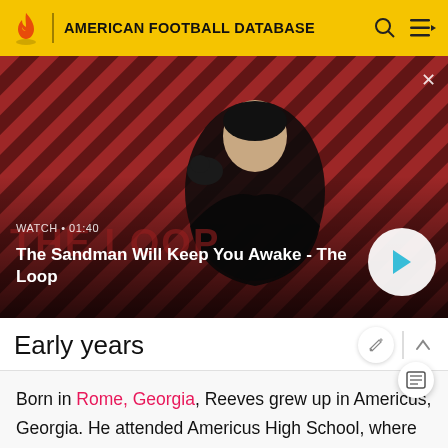AMERICAN FOOTBALL DATABASE
[Figure (screenshot): Promotional image for 'The Sandman Will Keep You Awake - The Loop' showing a pale man in dark clothing with a raven on his shoulder against a red striped background. Watch time shown as 01:40. Play button visible.]
Early years
Born in Rome, Georgia, Reeves grew up in Americus, Georgia. He attended Americus High School, where he participated in football, baseball and basketball.